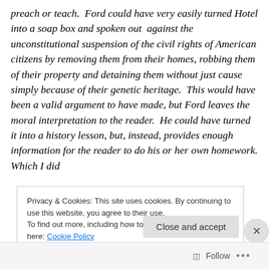preach or teach.  Ford could have very easily turned Hotel into a soap box and spoken out  against the unconstitutional suspension of the civil rights of American citizens by removing them from their homes, robbing them of their property and detaining them without just cause simply because of their genetic heritage.  This would have been a valid argument to have made, but Ford leaves the moral interpretation to the reader.  He could have turned it into a history lesson, but, instead, provides enough information for the reader to do his or her own homework.  Which I did.
Privacy & Cookies: This site uses cookies. By continuing to use this website, you agree to their use.
To find out more, including how to control cookies, see here: Cookie Policy